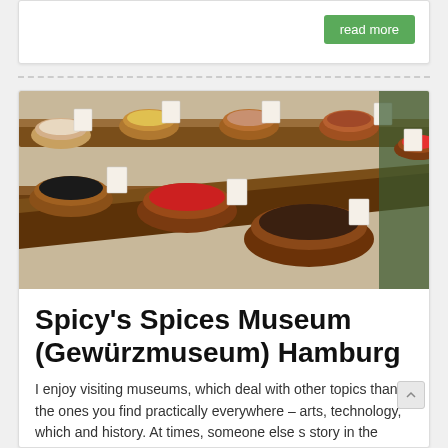read more
[Figure (photo): Photo of multiple terracotta spice bowls filled with various colorful spices arranged on a wooden shelf display, with small label cards in each bowl]
Spicy's Spices Museum (Gewürzmuseum) Hamburg
I enjoy visiting museums, which deal with other topics than the ones you find practically everywhere – arts, technology, which and history. At times, someone else s story in the